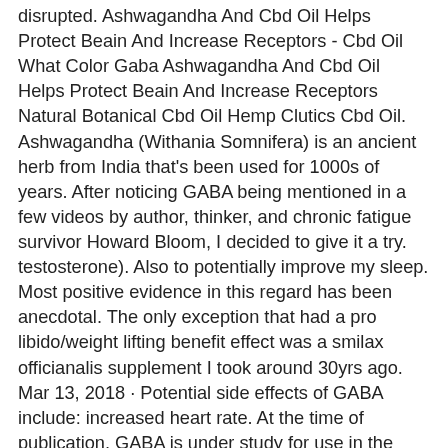disrupted. Ashwagandha And Cbd Oil Helps Protect Beain And Increase Receptors - Cbd Oil What Color Gaba Ashwagandha And Cbd Oil Helps Protect Beain And Increase Receptors Natural Botanical Cbd Oil Hemp Clutics Cbd Oil. Ashwagandha (Withania Somnifera) is an ancient herb from India that's been used for 1000s of years. After noticing GABA being mentioned in a few videos by author, thinker, and chronic fatigue survivor Howard Bloom, I decided to give it a try. testosterone). Also to potentially improve my sleep. Most positive evidence in this regard has been anecdotal. The only exception that had a pro libido/weight lifting benefit effect was a smilax officianalis supplement I took around 30yrs ago. Mar 13, 2018 · Potential side effects of GABA include: increased heart rate. At the time of publication, GABA is under study for use in the treatment of nerve disorders such as epilepsy and anxiety. It does have the potential to cause dependency. Its use dates back three millennia to the time the Ayurvedic practitioners in India began using it for. (4) #2 – Stress Relief & Overall Well-Being. Please tell me your thoughts and experiences, if you have any. John's Wort, vitamin D3, fish oil. Reduces Stress And Promotes Calmness. Some people also use ashwagandha for improving thinking ability, decreasing pain and swelling (inflammation), and preventing the effects of aging. Because of this, taking Ashwagandha at the beginning of your day can ensure that you are more productive and energetic enough to do all that you need to do. Jul 20, 2013 · I'd be careful with these types of